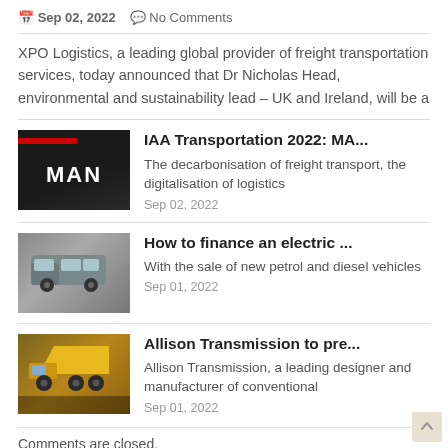Sep 02, 2022  No Comments
XPO Logistics, a leading global provider of freight transportation services, today announced that Dr Nicholas Head, environmental and sustainability lead – UK and Ireland, will be a
[Figure (photo): Close-up of dark MAN truck front with red stripe]
IAA Transportation 2022: MA...
The decarbonisation of freight transport, the digitalisation of logistics
Sep 02, 2022
[Figure (photo): Grey electric van on road]
How to finance an electric ...
With the sale of new petrol and diesel vehicles
Sep 01, 2022
[Figure (photo): Yellow dumper truck on construction site]
Allison Transmission to pre...
Allison Transmission, a leading designer and manufacturer of conventional
Sep 01, 2022
Comments are closed.